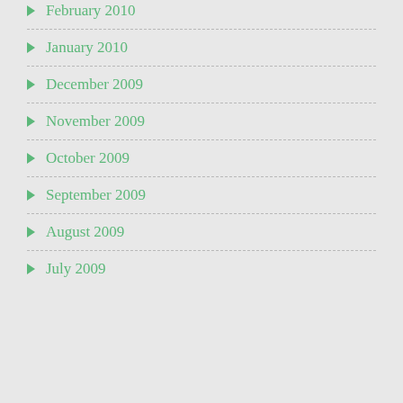February 2010
January 2010
December 2009
November 2009
October 2009
September 2009
August 2009
July 2009